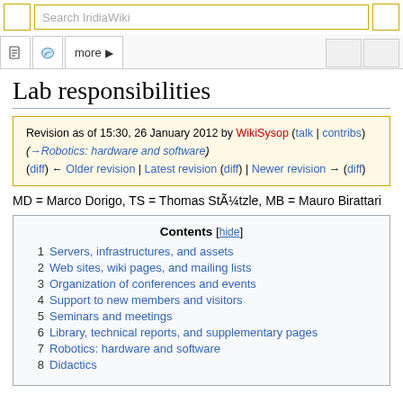Search IridiaWiki
Lab responsibilities
Revision as of 15:30, 26 January 2012 by WikiSysop (talk | contribs) (→Robotics: hardware and software) (diff) ← Older revision | Latest revision (diff) | Newer revision → (diff)
MD = Marco Dorigo, TS = Thomas Stützle, MB = Mauro Birattari
| Contents [hide] |
| --- |
| 1  Servers, infrastructures, and assets |
| 2  Web sites, wiki pages, and mailing lists |
| 3  Organization of conferences and events |
| 4  Support to new members and visitors |
| 5  Seminars and meetings |
| 6  Library, technical reports, and supplementary pages |
| 7  Robotics: hardware and software |
| 8  Didactics |